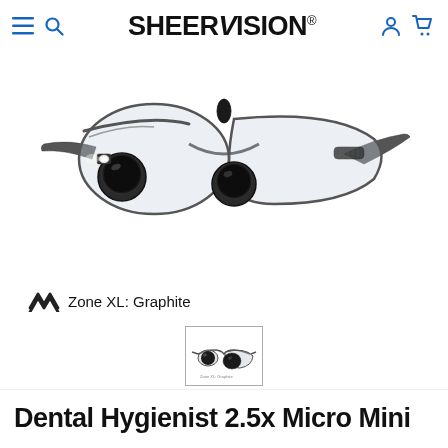SheerVision® (navigation bar with hamburger menu, search, user, and cart icons)
[Figure (photo): Dental loupes with binocular magnifiers and LED light mounted on graphite Zone XL sport frame glasses, shown at an angle. Under Armour Zone XL: Graphite label below.]
[Figure (photo): Small thumbnail image of the same dental loupes on graphite Zone XL frame.]
Dental Hygienist 2.5x Micro  Mini